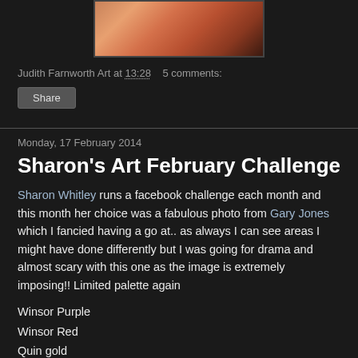[Figure (photo): Partial view of a watercolor artwork showing an animal (likely a dog or cat) with warm orange and red tones]
Judith Farnworth Art at 13:28   5 comments:
Share
Monday, 17 February 2014
Sharon's Art February Challenge
Sharon Whitley runs a facebook challenge each month and this month her choice was a fabulous photo from Gary Jones which I fancied having a go at.. as always I can see areas I might have done differently but I was going for drama and almost scary with this one as the image is extremely imposing!! Limited palette again
Winsor Purple
Winsor Red
Quin gold